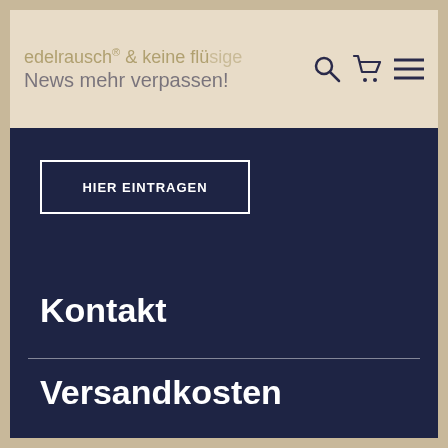edelrausch® & keine flüssigen News mehr verpassen!
HIER EINTRAGEN
Kontakt
Versandkosten